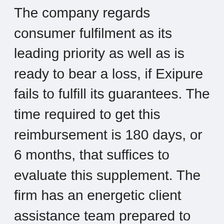The company regards consumer fulfilment as its leading priority as well as is ready to bear a loss, if Exipure fails to fulfill its guarantees. The time required to get this reimbursement is 180 days, or 6 months, that suffices to evaluate this supplement. The firm has an energetic client assistance team prepared to aid brand-new and existing customers. Get in touch with the consumer care to know the process of reimbursements. Likewise, do not discard your made use of or vacant Exipure bottles, as you may be asked to send them back to the business as a proof of purchase.
Do not trust fund resources besides the official website to get your Exipure order as this refund plan does not use on bottles purchased from